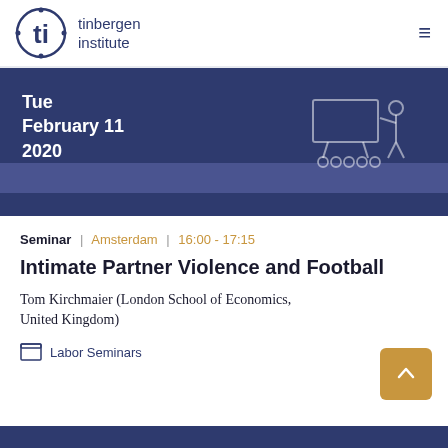tinbergen institute
Tue
February 11
2020
Seminar | Amsterdam | 16:00 - 17:15
Intimate Partner Violence and Football
Tom Kirchmaier (London School of Economics, United Kingdom)
Labor Seminars